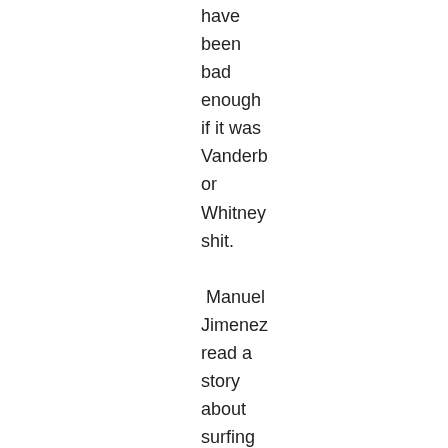have been bad enough if it was Vanderb or Whitney shit.

 Manuel Jimenez read a story about surfing and getting buffeted around by the waves. To